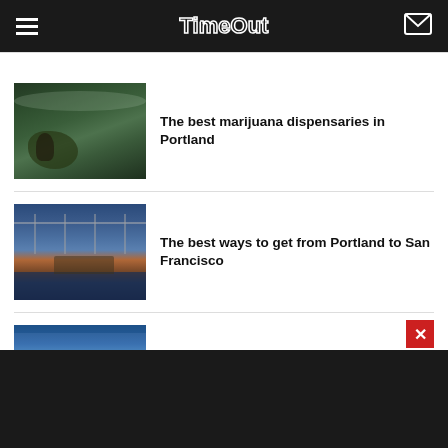Time Out
[Figure (photo): Person sitting on moss-covered rock in a forest, misty green trees in background]
The best marijuana dispensaries in Portland
[Figure (photo): Bay Bridge with San Francisco skyline at dusk, blue sky and orange horizon]
The best ways to get from Portland to San Francisco
[Figure (photo): Partial view of a blue-toned urban or waterfront scene]